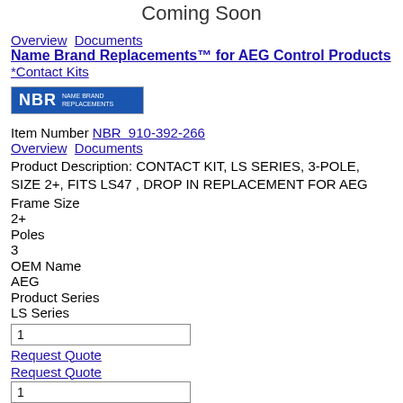Coming Soon
Overview  Documents
Name Brand Replacements™ for AEG Control Products
*Contact Kits
[Figure (logo): NBR Name Brand Replacements logo — blue background with white NBR text and small subtitle text]
Item Number NBR  910-392-266
Overview  Documents
Product Description: CONTACT KIT, LS SERIES, 3-POLE, SIZE 2+, FITS LS47 , DROP IN REPLACEMENT FOR AEG
Frame Size
2+
Poles
3
OEM Name
AEG
Product Series
LS Series
1
Request Quote
Request Quote
1